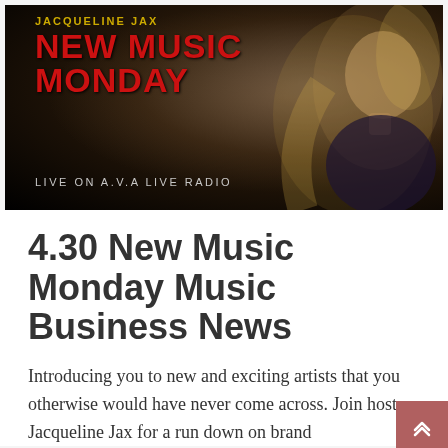[Figure (photo): Promotional banner for 'Jacqueline Jax New Music Monday' show on A.V.A Live Radio. Dark background with a blonde woman, red bold text reading 'NEW MUSIC MONDAY', gold text 'JACQUELINE JAX', and white text 'LIVE ON A.V.A LIVE RADIO'.]
4.30 New Music Monday Music Business News
Introducing you to new and exciting artists that you otherwise would have never come across. Join host Jacqueline Jax for a run down on brand